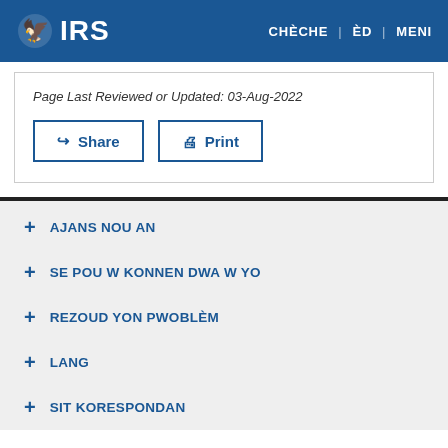IRS | CHÈCHE | ÈD | MENI
Page Last Reviewed or Updated: 03-Aug-2022
Share | Print
+ AJANS NOU AN
+ SE POU W KONNEN DWA W YO
+ REZOUD YON PWOBLÈM
+ LANG
+ SIT KORESPONDAN